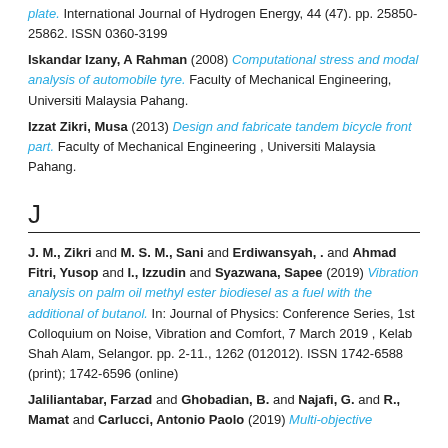plate. International Journal of Hydrogen Energy, 44 (47). pp. 25850-25862. ISSN 0360-3199
Iskandar Izany, A Rahman (2008) Computational stress and modal analysis of automobile tyre. Faculty of Mechanical Engineering, Universiti Malaysia Pahang.
Izzat Zikri, Musa (2013) Design and fabricate tandem bicycle front part. Faculty of Mechanical Engineering , Universiti Malaysia Pahang.
J
J. M., Zikri and M. S. M., Sani and Erdiwansyah, . and Ahmad Fitri, Yusop and I., Izzudin and Syazwana, Sapee (2019) Vibration analysis on palm oil methyl ester biodiesel as a fuel with the additional of butanol. In: Journal of Physics: Conference Series, 1st Colloquium on Noise, Vibration and Comfort, 7 March 2019 , Kelab Shah Alam, Selangor. pp. 2-11., 1262 (012012). ISSN 1742-6588 (print); 1742-6596 (online)
Jaliliantabar, Farzad and Ghobadian, B. and Najafi, G. and R., Mamat and Carlucci, Antonio Paolo (2019) Multi-objective